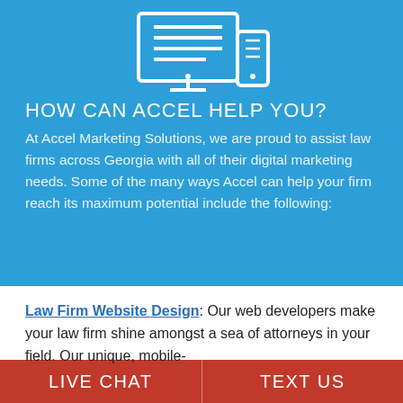[Figure (illustration): White outline icon of a desktop monitor with document/lines and a mobile phone beside it, on blue background]
HOW CAN ACCEL HELP YOU?
At Accel Marketing Solutions, we are proud to assist law firms across Georgia with all of their digital marketing needs. Some of the many ways Accel can help your firm reach its maximum potential include the following:
Law Firm Website Design: Our web developers make your law firm shine amongst a sea of attorneys in your field. Our unique, mobile-
LIVE CHAT | TEXT US